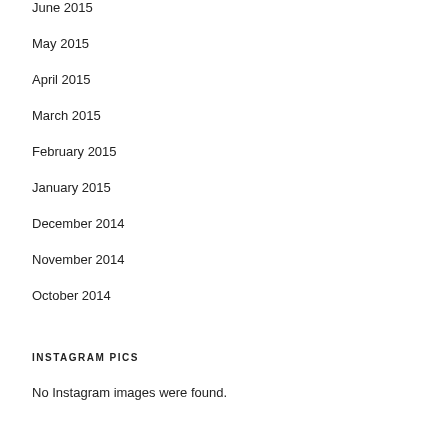June 2015
May 2015
April 2015
March 2015
February 2015
January 2015
December 2014
November 2014
October 2014
INSTAGRAM PICS
No Instagram images were found.